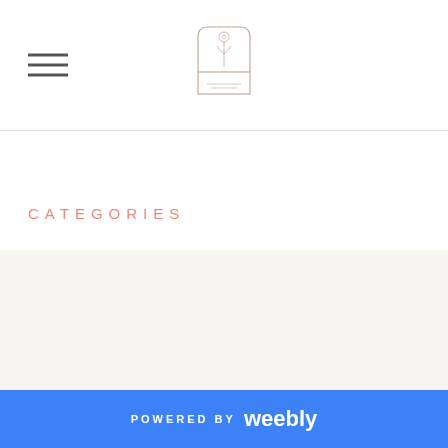Navigation header with hamburger menu and site logo
CATEGORIES
[Figure (logo): RSS feed icon - orange/yellow square with white RSS symbol]
POWERED BY weebly